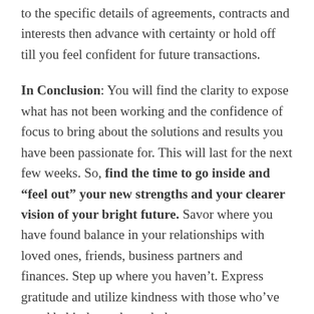to the specific details of agreements, contracts and interests then advance with certainty or hold off till you feel confident for future transactions.
In Conclusion: You will find the clarity to expose what has not been working and the confidence of focus to bring about the solutions and results you have been passionate for. This will last for the next few weeks. So, find the time to go inside and “feel out” your new strengths and your clearer vision of your bright future. Savor where you have found balance in your relationships with loved ones, friends, business partners and finances. Step up where you haven’t. Express gratitude and utilize kindness with those who’ve stood behind you through the storms.
The equalized light of day and dark of night open up a “window” in the momentum of time which gives us a